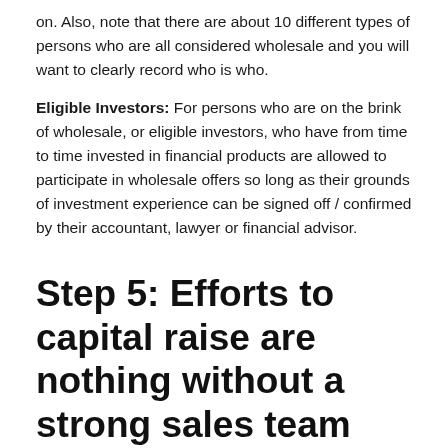on. Also, note that there are about 10 different types of persons who are all considered wholesale and you will want to clearly record who is who.
Eligible Investors: For persons who are on the brink of wholesale, or eligible investors, who have from time to time invested in financial products are allowed to participate in wholesale offers so long as their grounds of investment experience can be signed off / confirmed by their accountant, lawyer or financial advisor.
Step 5: Efforts to capital raise are nothing without a strong sales team skilled in investor relations.